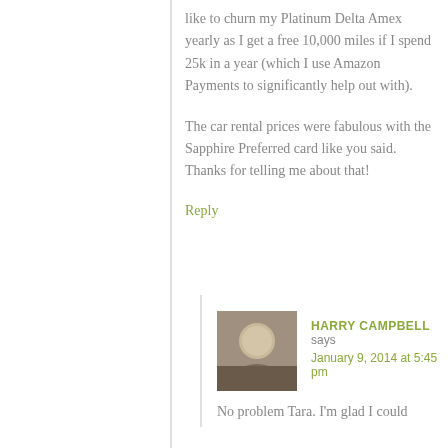like to churn my Platinum Delta Amex yearly as I get a free 10,000 miles if I spend 25k in a year (which I use Amazon Payments to significantly help out with).
The car rental prices were fabulous with the Sapphire Preferred card like you said. Thanks for telling me about that!
Reply
HARRY CAMPBELL says
January 9, 2014 at 5:45 pm
No problem Tara. I'm glad I could